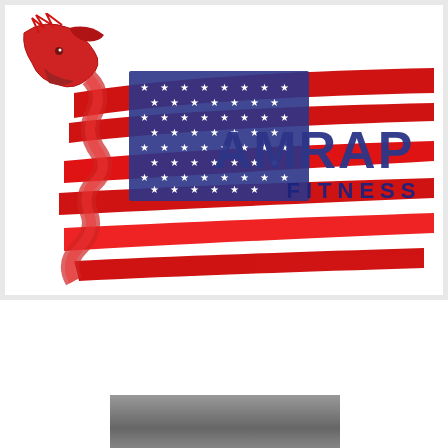[Figure (logo): AMRAP Fitness logo: a dragon silhouette in red combined with a distressed American flag design, with bold navy blue text reading 'AMRAP' and smaller text reading 'FITNESS' on a white background.]
Tuesday, August 31, 2010
This week's WOD's
[Figure (photo): Partial photo of a gym interior, mostly cut off at the bottom of the page.]